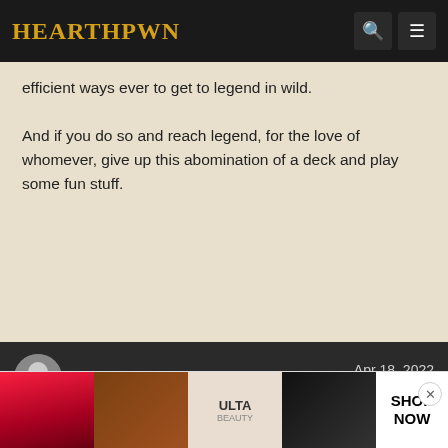HEARTHPWN
efficient ways ever to get to legend in wild.

And if you do so and reach legend, for the love of whomever, give up this abomination of a deck and play some fun stuff.
Giggidy76  Apr 18, 2022  #58
Member Details
I don't know - I've been playing Shudderwock highlander in wild and just made legend. Dirty Rat, Devolve, Blademaster Okani, Zephrys the Grea...